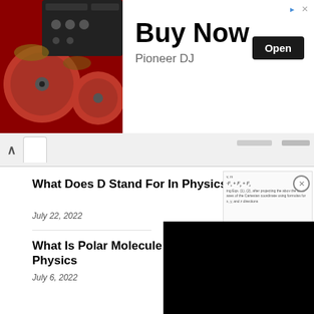[Figure (photo): Top advertisement banner showing DJ equipment with red turntables on left, and 'Buy Now / Pioneer DJ' text with Open button on right]
[Figure (screenshot): Browser navigation bar with chevron and tab]
What Does D Stand For In Physics
July 22, 2022
[Figure (screenshot): Right-side document preview showing physics equations and text about Cartesian coordinate formulas]
[Figure (screenshot): Black video overlay box]
What Is Polar Molecule In Physics
July 6, 2022
[Figure (illustration): Water molecule diagram showing polar molecule with H atoms and delta charges]
CLOSE
[Figure (photo): Bottom advertisement for MAC cosmetics showing lipsticks and Shop Now button]